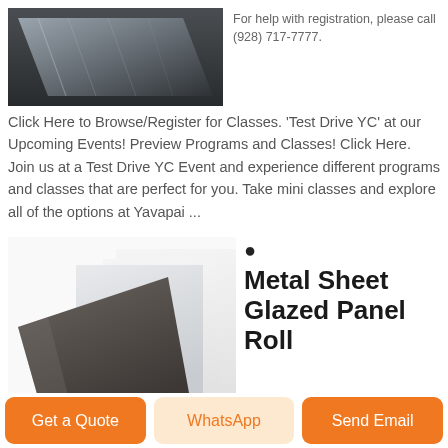[Figure (photo): Photo of metallic sheet material with brushed steel surface on dark background]
For help with registration, please call (928) 717-7777.
Click Here to Browse/Register for Classes. 'Test Drive YC' at our Upcoming Events! Preview Programs and Classes! Click Here. Join us at a Test Drive YC Event and experience different programs and classes that are perfect for you. Take mini classes and explore all of the options at Yavapai ...
[Figure (photo): Product photo showing multiple metal sheet panels in grey and dark brown colors]
Metal Sheet Glazed Panel Roll